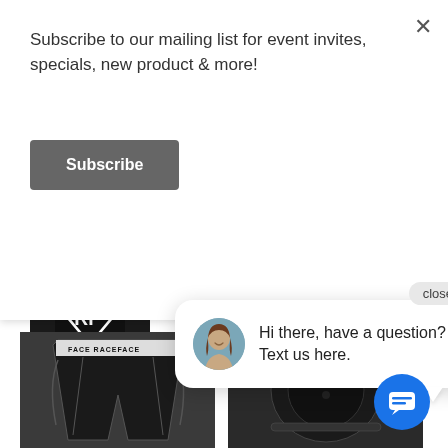Subscribe to our mailing list for event invites, specials, new product & more!
Subscribe
[Figure (screenshot): Race Face Covert Knee Guard product image showing black knee guard with RF logo]
Race Face
Covert Knee Guard
$100.0
[Figure (screenshot): Race Face Flank Leg Guards product image showing black leg guards with green accents]
Race Fac
Flank Leg Guards
[Figure (screenshot): Race Face shorts product image showing black padded shorts with RACEFACE logo]
[Figure (screenshot): Race Face knee pad product image showing black knee protection gear]
Hi there, have a question? Text us here.